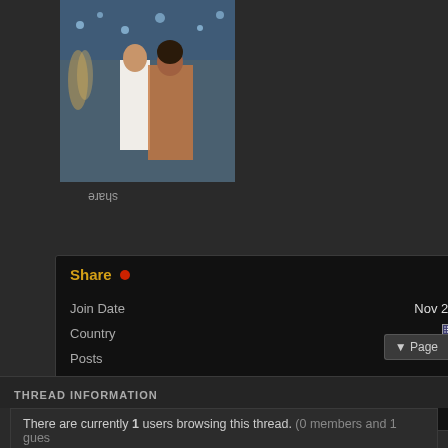[Figure (photo): Partial photo of two people, cropped at top, appears to be a couple in front of decorated background with flowers and blue decor]
share (flipped/mirrored)
Share
| Join Date | Nov 2014 |
| Country | 🇺🇸 |
| Posts | 597 |
| Thanked | 163 |
| Thanks | 446 |
GOLD MEMBER
Page
THREAD INFORMATION
There are currently 1 users browsing this thread. (0 members and 1 gues